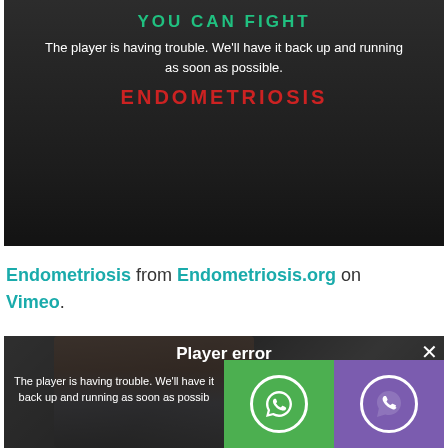[Figure (screenshot): Video player error screen with dark background. Text reads 'YOU CAN FIGHT' in teal at top, then 'The player is having trouble. We'll have it back up and running as soon as possible.' in white, and 'ENDOMETRIOSIS' in red bold letters.]
Endometriosis from Endometriosis.org on Vimeo.
[Figure (screenshot): Second video player error screen showing a person in background. Overlay shows 'Player error' in bold white text and 'The player is having trouble. We'll have it back up and running as soon as possible.' A close X button is in top right. Partially covered by WhatsApp (green) and Viber (purple) buttons in the lower right.]